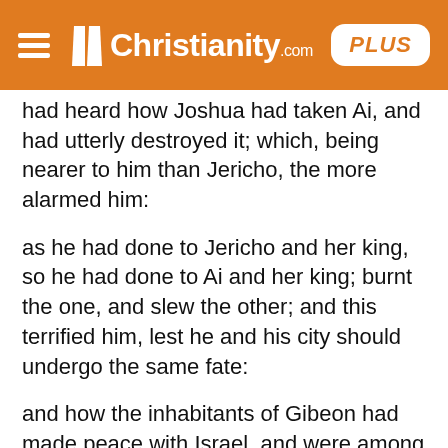Christianity.com PLUS
had heard how Joshua had taken Ai, and had utterly destroyed it; which, being nearer to him than Jericho, the more alarmed him:
as he had done to Jericho and her king, so he had done to Ai and her king; burnt the one, and slew the other; and this terrified him, lest he and his city should undergo the same fate:
and how the inhabitants of Gibeon had made peace with Israel, and were among them; which as it weakened the interest of the kings of Canaan, might set an example to other places to do the like. Abarbinel suggests, that the Gibeonites making peace with Israel secretly, without the knowledge of their king, as he supposes, made Adoniزadek: